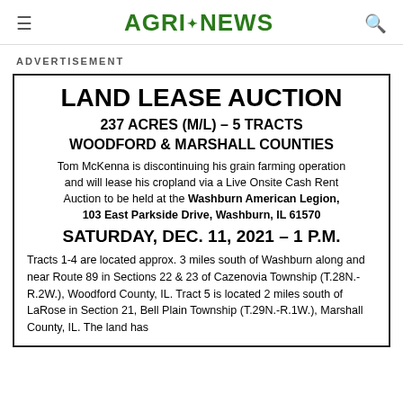≡  AGRINEWS  🔍
ADVERTISEMENT
LAND LEASE AUCTION
237 ACRES (M/L) – 5 TRACTS
WOODFORD & MARSHALL COUNTIES
Tom McKenna is discontinuing his grain farming operation and will lease his cropland via a Live Onsite Cash Rent Auction to be held at the Washburn American Legion, 103 East Parkside Drive, Washburn, IL 61570
SATURDAY, DEC. 11, 2021 – 1 P.M.
Tracts 1-4 are located approx. 3 miles south of Washburn along and near Route 89 in Sections 22 & 23 of Cazenovia Township (T.28N.-R.2W.), Woodford County, IL. Tract 5 is located 2 miles south of LaRose in Section 21, Bell Plain Township (T.29N.-R.1W.), Marshall County, IL. The land has